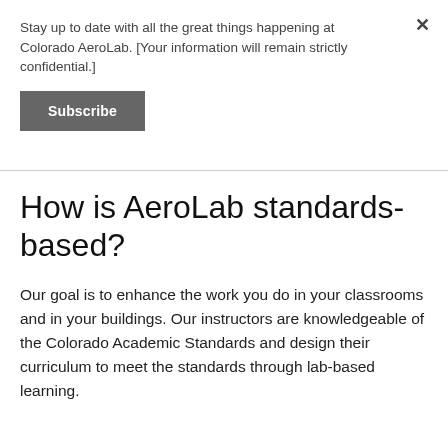Stay up to date with all the great things happening at Colorado AeroLab. [Your information will remain strictly confidential.]
Subscribe
How is AeroLab standards-based?
Our goal is to enhance the work you do in your classrooms and in your buildings. Our instructors are knowledgeable of the Colorado Academic Standards and design their curriculum to meet the standards through lab-based learning.